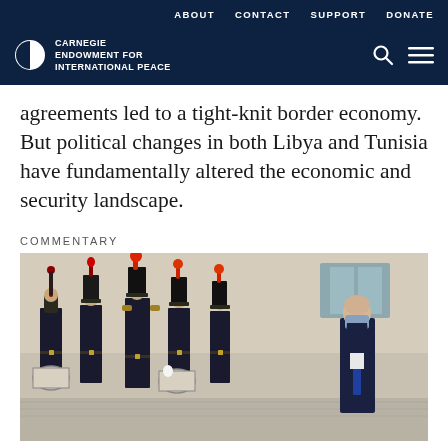ABOUT   CONTACT   SUPPORT   DONATE
CARNEGIE ENDOWMENT FOR INTERNATIONAL PEACE
agreements led to a tight-knit border economy. But political changes in both Libya and Tunisia have fundamentally altered the economic and security landscape.
COMMENTARY
[Figure (photo): A man wearing a blue face mask and dark suit stands to the right, facing a row of military guards in ceremonial uniform with tall plumed hats and drums, standing in front of a stone building.]